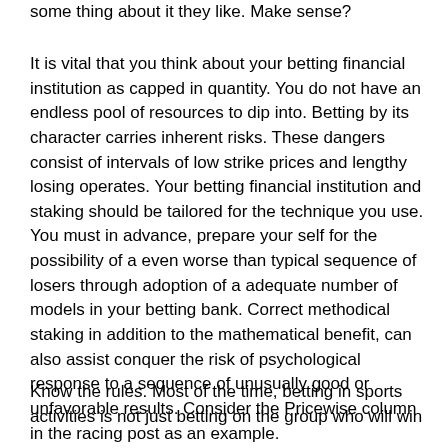some thing about it they like. Make sense?
It is vital that you think about your betting financial institution as capped in quantity. You do not have an endless pool of resources to dip into. Betting by its character carries inherent risks. These dangers consist of intervals of low strike prices and lengthy losing operates. Your betting financial institution and staking should be tailored for the technique you use. You must in advance, prepare your self for the possibility of a even worse than typical sequence of losers through adoption of a adequate number of models in your betting bank. Correct methodical staking in addition to the mathematical benefit, can also assist conquer the risk of psychological response to a sequence of unusually good or unfavorable results. Consider the Pricewise column in the racing post as an example.
Know the rules. Most of the time, betting in sports activities is not just betting on the group who will win